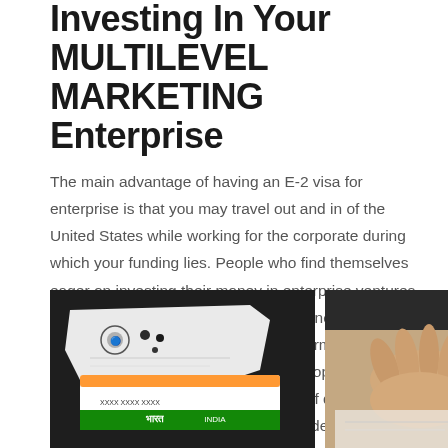Investing in Your MULTILEVEL MARKETING Enterprise
The main advantage of having an E-2 visa for enterprise is that you may travel out and in of the United States while working for the corporate during which your funding lies. People who find themselves eager on investing their money in enterprise ventures are given free rein in running their business, relying on how they deem it to be. Although no formal training is important when operating companies, operators do involve themselves within the course of due to the dangers that these funding deals include.
[Figure (photo): Two photos side by side: left shows Indian Aadhaar identity documents on a dark background; right shows a close-up of hands signing or handling documents.]